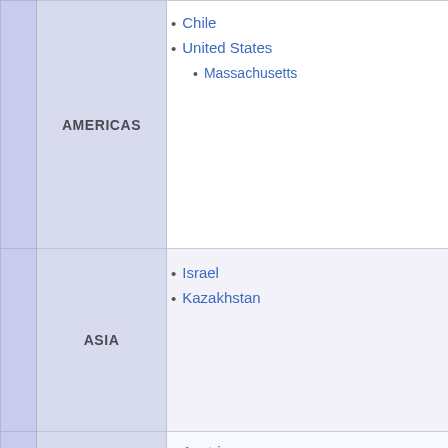Chile
United States
Massachusetts
Israel
Kazakhstan
Austria
Belarus
Belgium
Bosnia and Herzegovina
Republika Srpska
Bulgaria
Croatia
Czech Republic
Denmark